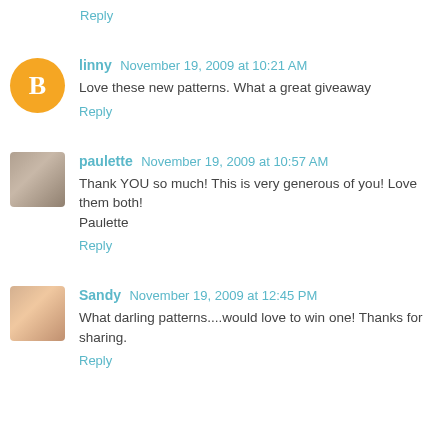Reply
linny  November 19, 2009 at 10:21 AM
Love these new patterns. What a great giveaway
Reply
paulette  November 19, 2009 at 10:57 AM
Thank YOU so much! This is very generous of you! Love them both!
Paulette
Reply
Sandy  November 19, 2009 at 12:45 PM
What darling patterns....would love to win one! Thanks for sharing.
Reply